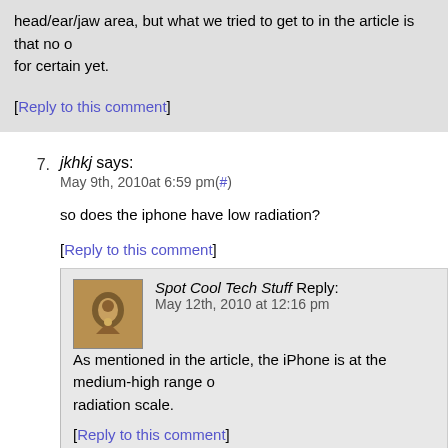head/ear/jaw area, but what we tried to get to in the article is that no one knows for certain yet.
[Reply to this comment]
7. jkhkj says: May 9th, 2010at 6:59 pm(#)
so does the iphone have low radiation?
[Reply to this comment]
[Figure (photo): Avatar image for Spot Cool Tech Stuff commenter]
Spot Cool Tech Stuff Reply: May 12th, 2010 at 12:16 pm
As mentioned in the article, the iPhone is at the medium-high range of the radiation scale.
[Reply to this comment]